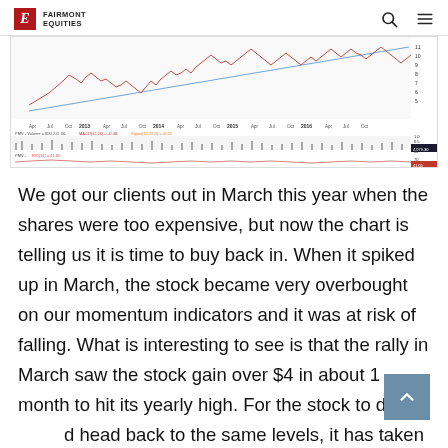FAIRMONT EQUITIES
[Figure (continuous-plot): Stock price chart for PMV showing price action from Apr 2012 to Oct 2016, with MACD and RSI indicators. Shows an upward trending stock with a rising trendline. MACD(12,26) = -0.48, Signal(12,26,9) = -0.20. PMV Volume = 600,222.00. RSI(14) = 41.05. Current value shown as 4,079.30.]
We got our clients out in March this year when the shares were too expensive, but now the chart is telling us it is time to buy back in. When it spiked up in March, the stock became very overbought on our momentum indicators and it was at risk of falling. What is interesting to see is that the rally in March saw the stock gain over $4 in about 1 month to hit its yearly high. For the stock to drop and head back to the same levels, it has taken the market